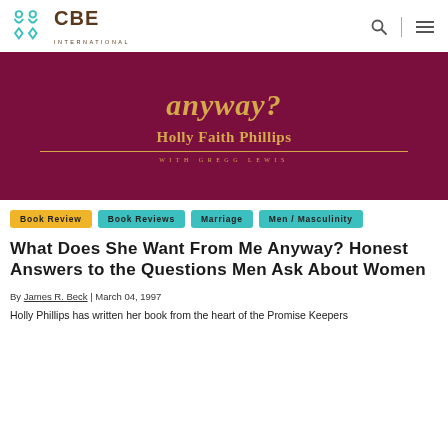CBE International
[Figure (photo): Book cover with dark maroon background showing the author name 'Holly Faith Phillips with Gregg Lewis' in gold serif font, with italic title text 'anyway?' visible at top in gold.]
Book Review
Book Reviews
Marriage
Men / Masculinity
What Does She Want From Me Anyway? Honest Answers to the Questions Men Ask About Women
By James R. Beck | March 04, 1997
Holly Phillips has written her book from the heart of the Promise Keepers